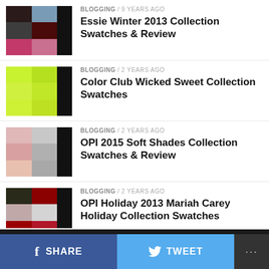BLOGGING / 9 years ago — Essie Winter 2013 Collection Swatches & Review
BLOGGING / 2 years ago — Color Club Wicked Sweet Collection Swatches
BLOGGING / 2 years ago — OPI 2015 Soft Shades Collection Swatches & Review
BLOGGING / 2 years ago — OPI Holiday 2013 Mariah Carey Holiday Collection Swatches
SHARE   TWEET   ...